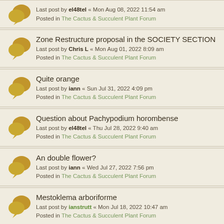Zone Restructure proposal in the SOCIETY SECTION
Last post by Chris L « Mon Aug 01, 2022 8:09 am
Posted in The Cactus & Succulent Plant Forum
Quite orange
Last post by iann « Sun Jul 31, 2022 4:09 pm
Posted in The Cactus & Succulent Plant Forum
Question about Pachypodium horombense
Last post by el48tel « Thu Jul 28, 2022 9:40 am
Posted in The Cactus & Succulent Plant Forum
An double flower?
Last post by iann « Wed Jul 27, 2022 7:56 pm
Posted in The Cactus & Succulent Plant Forum
Mestoklema arboriforme
Last post by ianstrutt « Mon Jul 18, 2022 10:47 am
Posted in The Cactus & Succulent Plant Forum
3 months too early!
Last post by Herts Mike « Fri Jul 15, 2022 10:20 am
Posted in The Cactus & Succulent Plant Forum